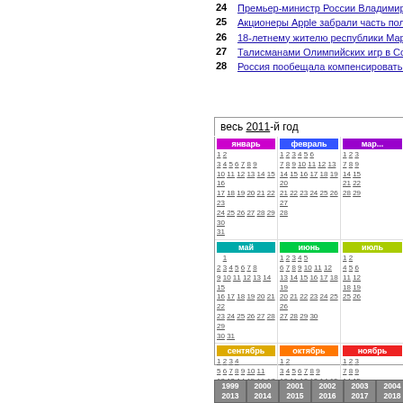24 Премьер-министр России Владимир Путин по...
25 Акционеры Apple забрали часть полномочий у...
26 18-летнему жителю республики Марий Эл Алек...
27 Талисманами Олимпийских игр в Сочи в 2014 г...
28 Россия пообещала компенсировать Европе воз...
весь 2011-й год
[Figure (other): Calendar showing all months of 2011 in a 3-column grid layout with colored month headers (January–December). Each month shows dates as links. Month headers: January (magenta), February (blue), March (purple), May (teal), June (green), July (yellow-green), September (yellow), October (orange), November (red).]
1999 2013 | 2000 2014 | 2001 2015 | 2002 2016 | 2003 2017 | 2004 2018 | 2005 2019 | 2006 2020